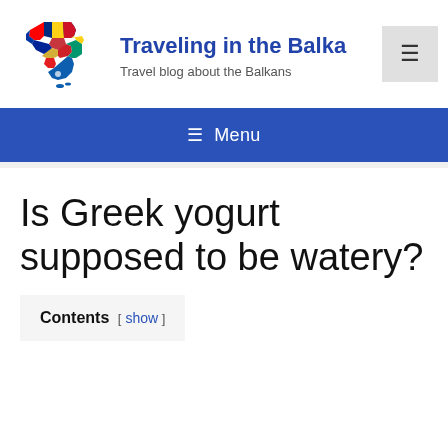[Figure (logo): Colorful map illustration of the Balkans region with national flags]
Traveling in the Balkans — Travel blog about the Balkans
≡ Menu
Is Greek yogurt supposed to be watery?
Contents [ show ]